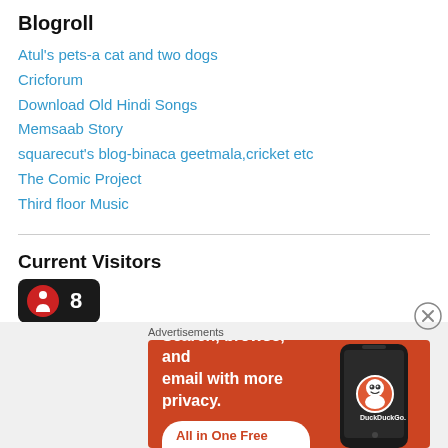Blogroll
Atul's pets-a cat and two dogs
Cricforum
Download Old Hindi Songs
Memsaab Story
squarecut's blog-binaca geetmala,cricket etc
The Comic Project
Third floor Music
Current Visitors
[Figure (other): Current visitors widget showing count of 8 with a person/walker icon on dark background]
Advertisements
[Figure (other): DuckDuckGo advertisement banner with orange background. Text: Search, browse, and email with more privacy. All in One Free App. Shows DuckDuckGo logo on a phone.]